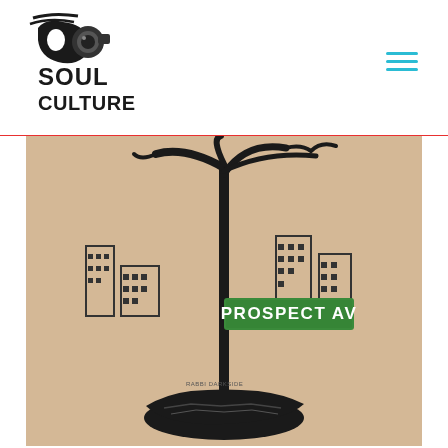[Figure (logo): Soul Culture logo with stylized face/camera graphic and text 'SOUL CULTURE' in bold black letters]
[Figure (illustration): Hand-drawn illustration on brown kraft paper showing a street sign pole with 'PROSPECT AV' green sign, a tree with black branches at top, city buildings in background, and a dark patch of ground at the base. Text 'RABBI DARKSIDE' visible near bottom.]